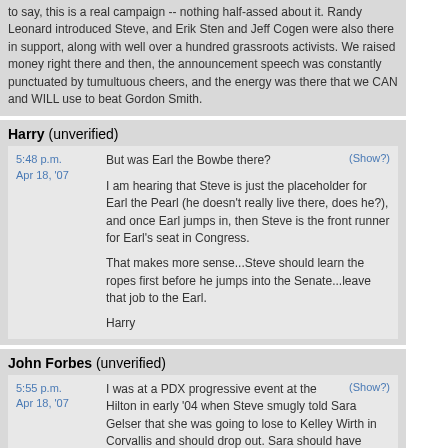to say, this is a real campaign -- nothing half-assed about it. Randy Leonard introduced Steve, and Erik Sten and Jeff Cogen were also there in support, along with well over a hundred grassroots activists. We raised money right there and then, the announcement speech was constantly punctuated by tumultuous cheers, and the energy was there that we CAN and WILL use to beat Gordon Smith.
Harry (unverified)
5:48 p.m. Apr 18, '07
(Show?)
But was Earl the Bowbe there?
I am hearing that Steve is just the placeholder for Earl the Pearl (he doesn't really live there, does he?), and once Earl jumps in, then Steve is the front runner for Earl's seat in Congress.
That makes more sense...Steve should learn the ropes first before he jumps into the Senate...leave that job to the Earl.
Harry
John Forbes (unverified)
5:55 p.m. Apr 18, '07
(Show?)
I was at a PDX progressive event at the Hilton in early '04 when Steve smugly told Sara Gelser that she was going to lose to Kelley Wirth in Corvallis and should drop out. Sara should have given him the finger, but was nice, kept going, almost won the first time and was there to save the seat when Wirthless totally self destructed (she had only 75% self destructed before, but labor and other groups were too stupid to realize that and wasted boatloads on a useless dingbat.) My point is that Sara showed what an underdog can do, so don't listen to people like yourself, Steve. Hang in there... for now. (Are you going to ask Sara for an endorsement? How bout Kelley??!!)